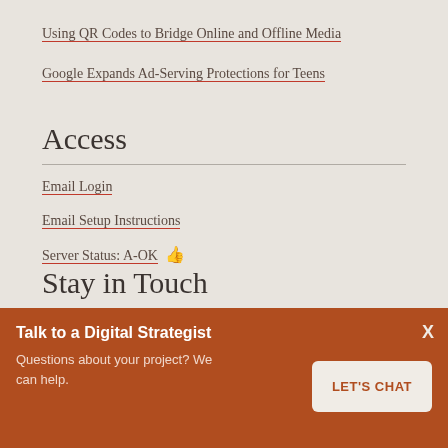Using QR Codes to Bridge Online and Offline Media
Google Expands Ad-Serving Protections for Teens
Access
Email Login
Email Setup Instructions
Server Status: A-OK 👍
Stay in Touch
Talk to a Digital Strategist
Questions about your project? We can help.